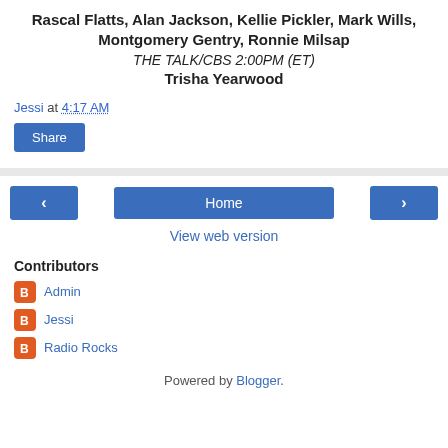Rascal Flatts, Alan Jackson, Kellie Pickler, Mark Wills, Montgomery Gentry, Ronnie Milsap
THE TALK/CBS 2:00PM (ET)
Trisha Yearwood
Jessi at 4:17 AM
Share
‹   Home   ›
View web version
Contributors
Admin
Jessi
Radio Rocks
Powered by Blogger.